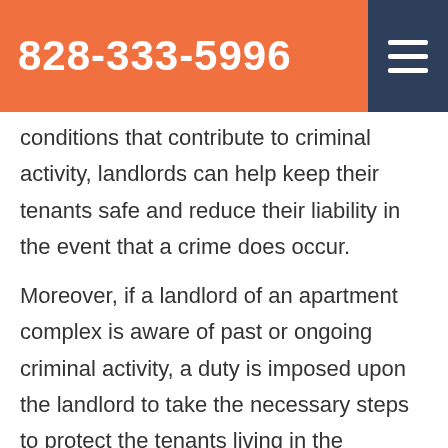828-333-5996
conditions that contribute to criminal activity, landlords can help keep their tenants safe and reduce their liability in the event that a crime does occur.
Moreover, if a landlord of an apartment complex is aware of past or ongoing criminal activity, a duty is imposed upon the landlord to take the necessary steps to protect the tenants living in the complex.
If you've been injured in your apartment or on the grounds of your apartment complex, you may have